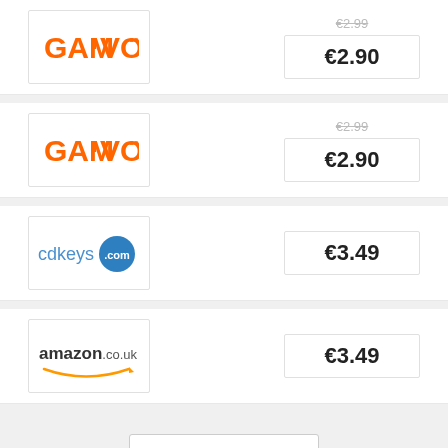[Figure (logo): GAMIVO.com logo - orange text]
€2.99 (strikethrough), €2.90
[Figure (logo): GAMIVO.com logo - orange text]
€2.99 (strikethrough), €2.90
[Figure (logo): cdkeys.com logo]
€3.49
[Figure (logo): amazon.co.uk logo]
€3.49
9 MORE SHOPS ▼